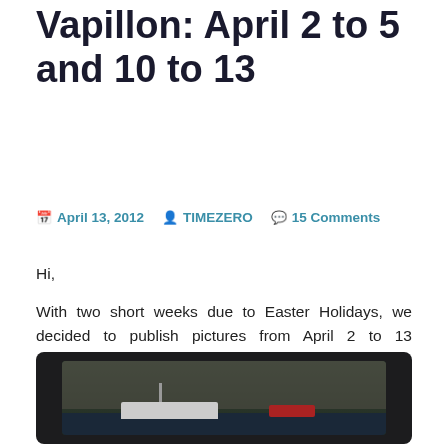Vapillon: April 2 to 5 and 10 to 13
April 13, 2012  TIMEZERO  15 Comments
Hi,
With two short weeks due to Easter Holidays, we decided to publish pictures from April 2 to 13 altogether. Many fishing-related images but also colorful and impressive pics of mediterranean ports and boats.
[Figure (photo): A fishing boat docked near a stone wall at a mediterranean port, dark moody colors, with a red element visible on the right side.]